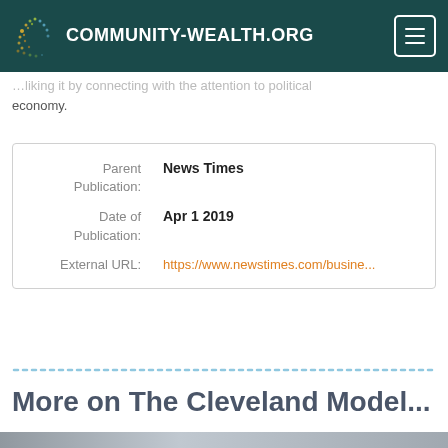COMMUNITY-WEALTH.ORG
economy.
| Field | Value |
| --- | --- |
| Parent Publication: | News Times |
| Date of Publication: | Apr 1 2019 |
| External URL: | https://www.newstimes.com/busine... |
More on The Cleveland Model...
[Figure (photo): Partial bottom image strip showing a person, cropped]